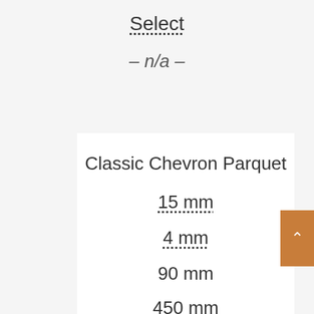Select
– n/a –
Classic Chevron Parquet
15 mm
4 mm
90 mm
450 mm
Oak
Select